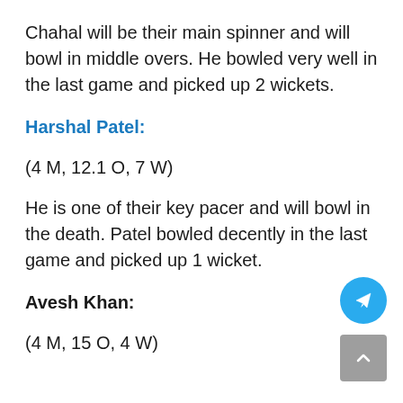Chahal will be their main spinner and will bowl in middle overs. He bowled very well in the last game and picked up 2 wickets.
Harshal Patel:
(4 M, 12.1 O, 7 W)
He is one of their key pacer and will bowl in the death. Patel bowled decently in the last game and picked up 1 wicket.
Avesh Khan:
(4 M, 15 O, 4 W)